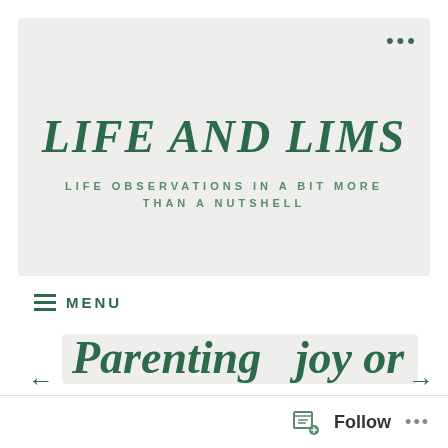LIFE AND LIMS
LIFE OBSERVATIONS IN A BIT MORE THAN A NUTSHELL
≡ MENU
[Figure (screenshot): Partial blog post card showing text 'Parenting  joy or' with left and right navigation arrows]
Follow ...